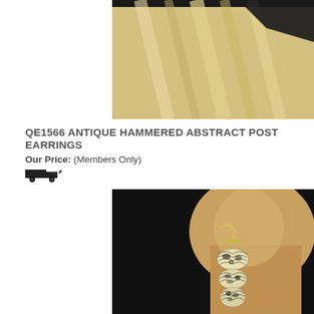[Figure (photo): Top portion of a mannequin head with blonde hair and black hat, cropped product display photo]
QE1566 ANTIQUE HAMMERED ABSTRACT POST EARRINGS
Our Price: (Members Only)
[Figure (photo): Side profile of a mannequin head wearing a snake-skin patterned dangle earring with metallic hook, displayed against a dark background]